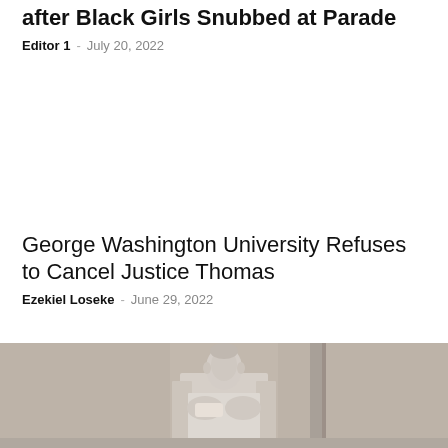after Black Girls Snubbed at Parade
Editor 1 · July 20, 2022
George Washington University Refuses to Cancel Justice Thomas
Ezekiel Loseke · June 29, 2022
[Figure (photo): Black and white photo of the Lincoln Memorial statue showing Abraham Lincoln seated, holding a scroll, viewed from a low angle against a plain background.]